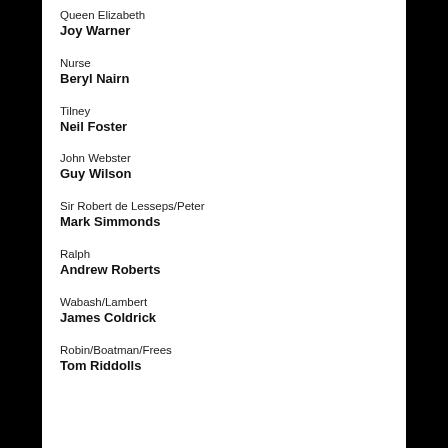Queen Elizabeth
Joy Warner
Nurse
Beryl Nairn
Tilney
Neil Foster
John Webster
Guy Wilson
Sir Robert de Lesseps/Peter
Mark Simmonds
Ralph
Andrew Roberts
Wabash/Lambert
James Coldrick
Robin/Boatman/Frees
Tom Riddolls